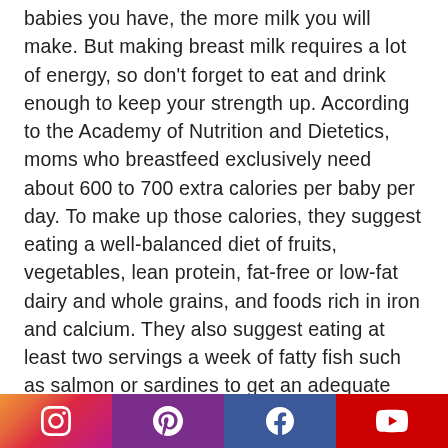babies you have, the more milk you will make. But making breast milk requires a lot of energy, so don't forget to eat and drink enough to keep your strength up. According to the Academy of Nutrition and Dietetics, moms who breastfeed exclusively need about 600 to 700 extra calories per baby per day. To make up those calories, they suggest eating a well-balanced diet of fruits, vegetables, lean protein, fat-free or low-fat dairy and whole grains, and foods rich in iron and calcium. They also suggest eating at least two servings a week of fatty fish such as salmon or sardines to get an adequate amount of omega-3 fatty acids
Social media icons: Instagram, Pinterest, Facebook, YouTube